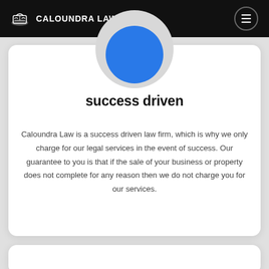[Figure (logo): Caloundra Law logo with book/scales icon and text on dark header bar with hamburger menu button]
[Figure (illustration): Partial circular graphic with grey outer circle and blue inner circle, cropped at top of card]
success driven
Caloundra Law is a success driven law firm, which is why we only charge for our legal services in the event of success. Our guarantee to you is that if the sale of your business or property does not complete for any reason then we do not charge you for our services.